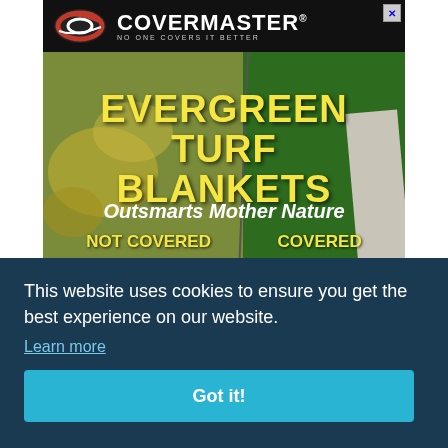[Figure (advertisement): Covermaster advertisement showing Evergreen Turf Blankets product. Black header with Covermaster logo and tagline 'NO ONE COVERS IT BETTER'. Grass background showing split between 'NOT COVERED' (yellowed grass) and 'COVERED' (green grass) with text overlays. Red 'LEARN MORE' button at bottom.]
This website uses cookies to ensure you get the best experience on our website.
Learn more
Got it!
We expect the league to take strong, public action